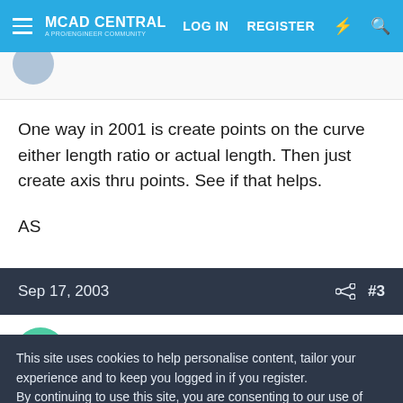MCAD CENTRAL | LOG IN | REGISTER
One way in 2001 is create points on the curve either length ratio or actual length. Then just create axis thru points. See if that helps.

AS
Sep 17, 2003  #3
Brian_Adkins
Moderator
This site uses cookies to help personalise content, tailor your experience and to keep you logged in if you register.
By continuing to use this site, you are consenting to our use of cookies.
✓ Accept   Learn more...